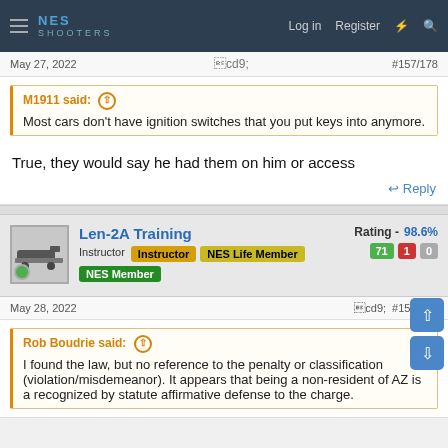NES SHOOTERS — Log in  Register
May 27, 2022  #157/178
M1911 said: ↑
Most cars don't have ignition switches that you put keys into anymore.
True, they would say he had them on him or access
Reply
Len-2A Training
Instructor  Instructor  NES Life Member
NES Member
Rating - 98.6%  71  1  0
May 28, 2022  #158/178
Rob Boudrie said: ↑
I found the law, but no reference to the penalty or classification (violation/misdemeanor). It appears that being a non-resident of AZ is a recognized by statute affirmative defense to the charge.